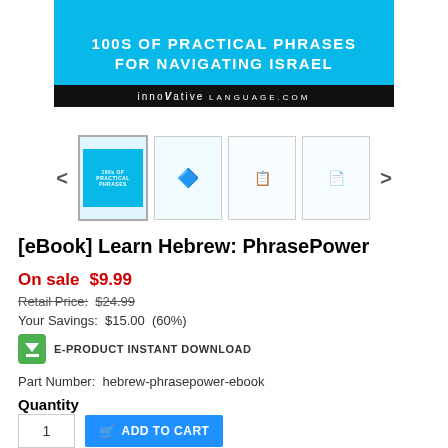[Figure (illustration): Book cover for HebrewPod101 PhrasePower ebook showing blue background with text '100s OF PRACTICAL PHRASES FOR NAVIGATING ISRAEL' and Innovative Language logo on black bar]
[Figure (illustration): Thumbnail strip showing 4 page previews of the ebook with left and right navigation arrows]
[eBook] Learn Hebrew: PhrasePower
On sale  $9.99
Retail Price:  $24.99
Your Savings:  $15.00  (60%)
E-PRODUCT INSTANT DOWNLOAD
Part Number:  hebrew-phrasepower-ebook
Quantity
1
ADD TO CART